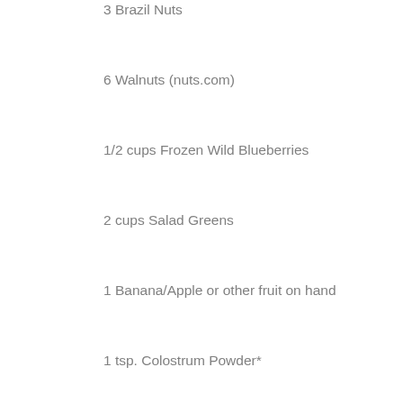3 Brazil Nuts
6 Walnuts  (nuts.com)
1/2 cups Frozen Wild Blueberries
2 cups Salad Greens
1 Banana/Apple or other fruit on hand
1 tsp. Colostrum Powder*
1 1/2 tsp. Premier Greens Powder*
1/2 tsp. Premier Nutritional Flakes*
1/2 tsp. Coral Legend Powder*
1/2 tsp. Fermented Beet Powder*
1 tsp. Fermented Mushroom Blend*